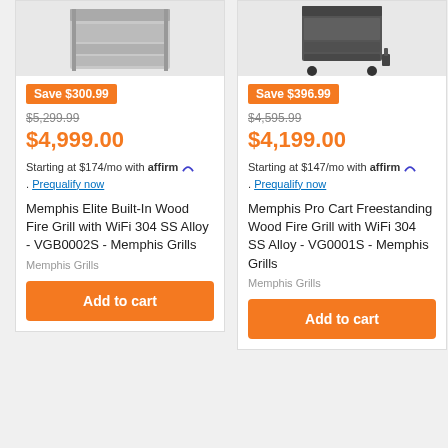[Figure (photo): Memphis Elite Built-In Wood Fire Grill product image, steel/silver appliance]
Save $300.99
$5,299.99
$4,999.00
Starting at $174/mo with affirm. Prequalify now
Memphis Elite Built-In Wood Fire Grill with WiFi 304 SS Alloy - VGB0002S - Memphis Grills
Memphis Grills
Add to cart
[Figure (photo): Memphis Pro Cart Freestanding Wood Fire Grill product image, dark gray cart grill with wheels]
Save $396.99
$4,595.99
$4,199.00
Starting at $147/mo with affirm. Prequalify now
Memphis Pro Cart Freestanding Wood Fire Grill with WiFi 304 SS Alloy - VG0001S - Memphis Grills
Memphis Grills
Add to cart